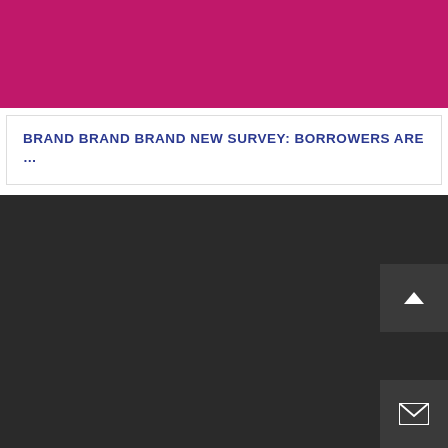[Figure (other): Solid magenta/crimson color banner at top of page]
BRAND BRAND BRAND NEW SURVEY: BORROWERS ARE ...
[Figure (other): Dark gray/charcoal background section filling bottom portion of page, with scroll-up button and email/envelope button in bottom-right corner]